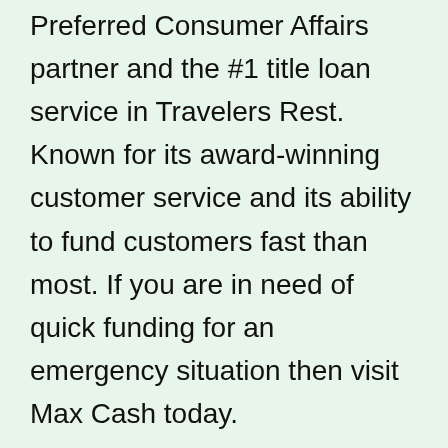Preferred Consumer Affairs partner and the #1 title loan service in Travelers Rest. Known for its award-winning customer service and its ability to fund customers fast than most. If you are in need of quick funding for an emergency situation then visit Max Cash today.
For Instant Pre-Approval Click Below
[Figure (other): Orange gradient rounded button with white bold text 'Apply Now' and a right arrow]
Minimum loan amount: $100